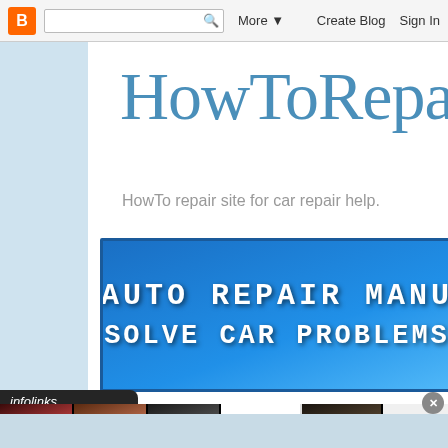B  [search]  More ▼  Create Blog  Sign In
HowToRepair
HowTo repair site for car repair help.
[Figure (infographic): Blue banner advertisement: AUTO REPAIR MANU... / SOLVE CAR PROBLEMS]
[Figure (infographic): Infolinks ad strip with beauty/makeup images, ULTA logo, and SHOP NOW button]
infolinks